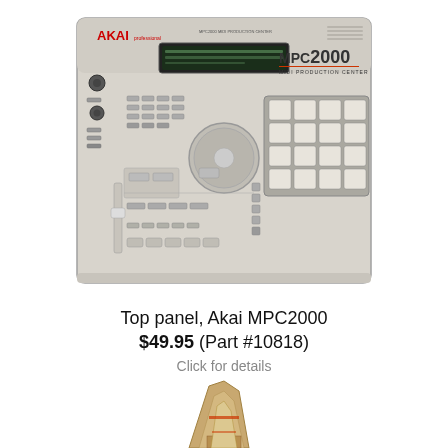[Figure (photo): Top panel of an Akai MPC2000 MIDI Production Center. The panel is light grey/cream colored, featuring a large LCD display, numerous buttons and pads, a large jog wheel, a 4x4 grid of velocity-sensitive pads on the right, and the AKAI logo in red at the top left with MPC2000 MIDI PRODUCTION CENTER branding on the right.]
Top panel, Akai MPC2000
$49.95 (Part #10818)
Click for details
[Figure (photo): Partial view of another product at the bottom of the page, appears to be a mechanical or electronic component, partially cropped.]